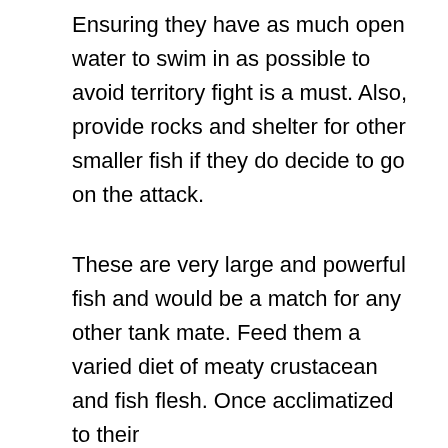Ensuring they have as much open water to swim in as possible to avoid territory fight is a must. Also, provide rocks and shelter for other smaller fish if they do decide to go on the attack.
These are very large and powerful fish and would be a match for any other tank mate. Feed them a varied diet of meaty crustacean and fish flesh. Once acclimatized to their
[Figure (other): Advertisement banner for Waterford Tank and Fabrication with an industrial warehouse/factory interior image on the left and text 'Waterford Tank and Fabrication' with a 'Visit Site' link on the right. Ad label and close/info icons visible.]